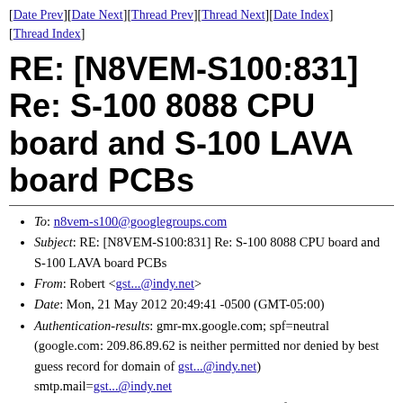[Date Prev][Date Next][Thread Prev][Thread Next][Date Index][Thread Index]
RE: [N8VEM-S100:831] Re: S-100 8088 CPU board and S-100 LAVA board PCBs
To: n8vem-s100@googlegroups.com
Subject: RE: [N8VEM-S100:831] Re: S-100 8088 CPU board and S-100 LAVA board PCBs
From: Robert <gst...@indy.net>
Date: Mon, 21 May 2012 20:49:41 -0500 (GMT-05:00)
Authentication-results: gmr-mx.google.com; spf=neutral (google.com: 209.86.89.62 is neither permitted nor denied by best guess record for domain of gst...@indy.net) smtp.mail=gst...@indy.net
Domainkey-signature: a=rsa-sha1; q=dns; c=nofws; s=dk20050327; d=indy.net; b=UVaybrToP6Df9zq4JttEIxGW1RJWwvTDvSwLVhjaQgwe h=Message-ID,Date,From,Reply-To,To,Subject,Mi